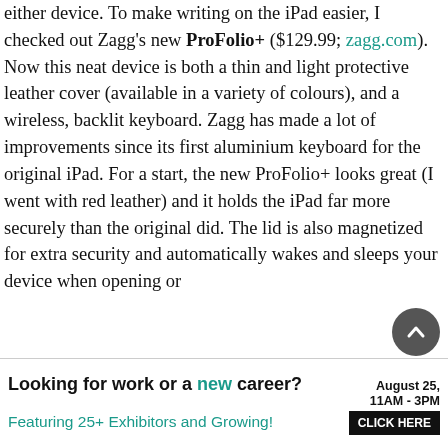either device. To make writing on the iPad easier, I checked out Zagg's new ProFolio+ ($129.99; zagg.com). Now this neat device is both a thin and light protective leather cover (available in a variety of colours), and a wireless, backlit keyboard. Zagg has made a lot of improvements since its first aluminium keyboard for the original iPad. For a start, the new ProFolio+ looks great (I went with red leather) and it holds the iPad far more securely than the original did. The lid is also magnetized for extra security and automatically wakes and sleeps your device when opening or
[Figure (photo): Blank white image box with black border, likely showing a photo of the Zagg ProFolio+ product]
Looking for work or a new career? August 25, 11AM - 3PM Featuring 25+ Exhibitors and Growing! CLICK HERE